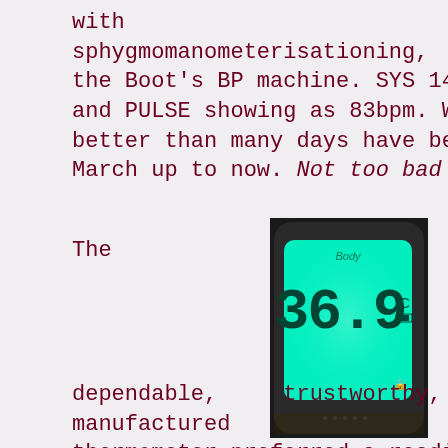with the sphygmomanometerisationing, with the Boot's BP machine. SYS 148. DIA 81 and PULSE showing as 83bpm. Which is better than many days have been the March up to now. Not too bad at all!
The
[Figure (photo): A glowing cyan/green LCD thermometer display showing '36.9°C' with 'Body' text at the top, held in a dark background setting.]
dependable, trustworthy, Chinese manufactured contactless thermometer preferred a reading of